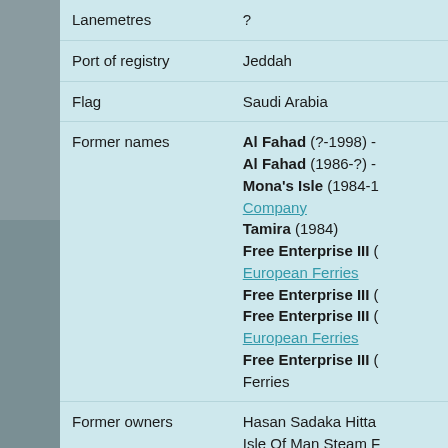| Field | Value |
| --- | --- |
| Lanemetres | ? |
| Port of registry | Jeddah |
| Flag | Saudi Arabia |
| Former names | Al Fahad (?-1998) - Al Fahad (1986-?) - Mona's Isle (1984-1...) Company Tamira (1984) Free Enterprise III ( European Ferries Free Enterprise III ( Free Enterprise III ( European Ferries Free Enterprise III ( Ferries |
| Former owners | Hasan Sadaka Hitta Isle Of Man Steam F... Mira Shipping Line (... Townsend European... |
| Sister ships | - |